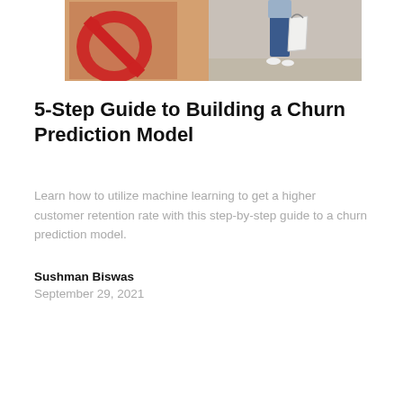[Figure (photo): A person carrying a white shopping bag walking past a storefront with a large red percentage/discount sign on the left side and a concrete wall on the right.]
5-Step Guide to Building a Churn Prediction Model
Learn how to utilize machine learning to get a higher customer retention rate with this step-by-step guide to a churn prediction model.
Sushman Biswas
September 29, 2021